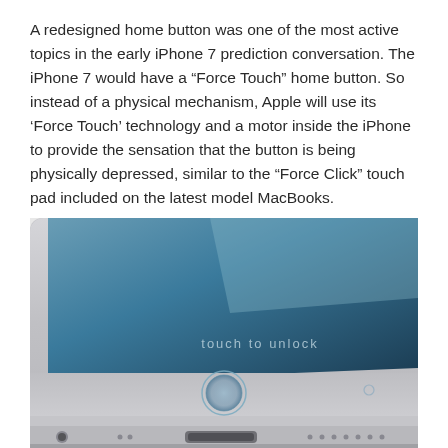A redesigned home button was one of the most active topics in the early iPhone 7 prediction conversation. The iPhone 7 would have a “Force Touch” home button. So instead of a physical mechanism, Apple will use its ‘Force Touch’ technology and a motor inside the iPhone to provide the sensation that the button is being physically depressed, similar to the “Force Click” touch pad included on the latest model MacBooks.
[Figure (photo): A concept render of an iPhone viewed from the bottom-front angle, showing the bottom bezel with a circular home button (Force Touch style), the screen displaying 'touch to unlock' text, a Lightning port at the bottom edge, a headphone jack, and speaker grilles. The device has a silver/metallic finish.]